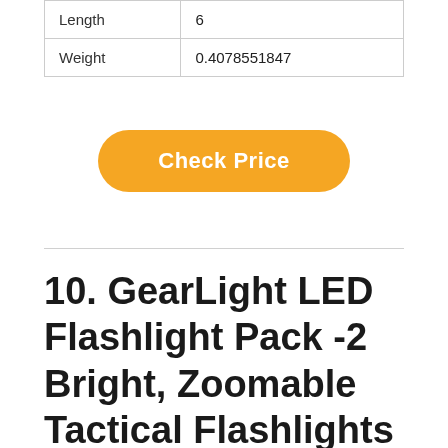| Length | 6 |
| Weight | 0.4078551847 |
[Figure (other): Orange rounded rectangle button with white bold text reading 'Check Price']
10. GearLight LED Flashlight Pack -2 Bright, Zoomable Tactical Flashlights with High Lumens and 5 Modes for Emergency and Outdoor Use -